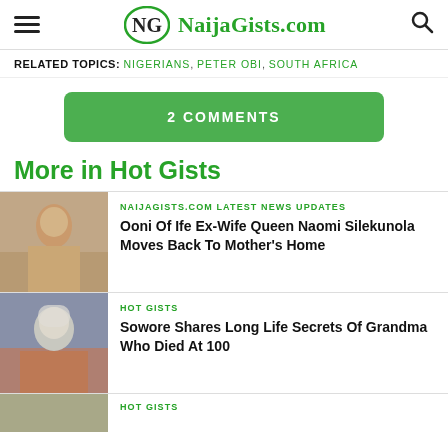NaijaGists.com
RELATED TOPICS: NIGERIANS, PETER OBI, SOUTH AFRICA
2 COMMENTS
More in Hot Gists
[Figure (photo): Photo of a woman in golden outfit]
NAIJAGISTS.COM LATEST NEWS UPDATES
Ooni Of Ife Ex-Wife Queen Naomi Silekunola Moves Back To Mother's Home
[Figure (photo): Photo of an elderly woman in colorful attire]
HOT GISTS
Sowore Shares Long Life Secrets Of Grandma Who Died At 100
[Figure (photo): Partially visible thumbnail]
HOT GISTS